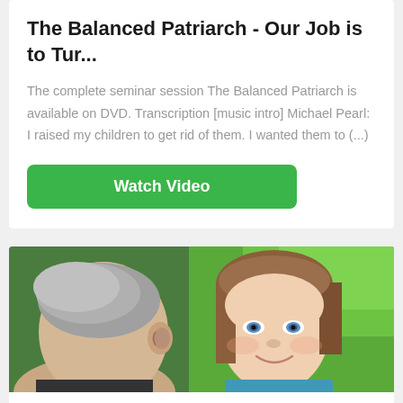The Balanced Patriarch - Our Job is to Tur...
The complete seminar session The Balanced Patriarch is available on DVD. Transcription [music intro] Michael Pearl:  I raised my children to get rid of them. I wanted them to (...)
[Figure (other): Green 'Watch Video' button]
[Figure (photo): Close-up photo of a couple outdoors — a man seen from behind/side showing his ear and gray hair, and a woman with brown hair and blue eyes smiling, with green foliage in background]
Marriage God's Way - Leave &